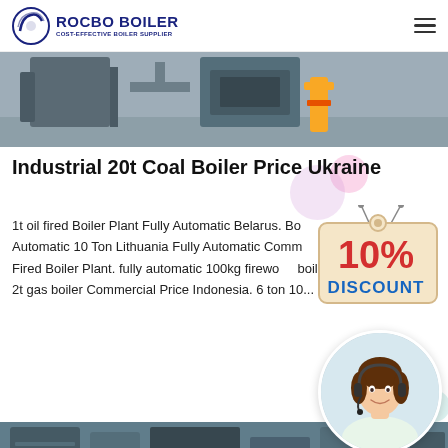ROCBO BOILER — COST-EFFECTIVE BOILER SUPPLIER
[Figure (photo): Industrial boiler equipment with yellow pipe fittings in a factory setting]
Industrial 20t Coal Boiler Price Ukraine
1t oil fired Boiler Plant Fully Automatic Belarus. Boiler Fully Automatic 10 Ton Lithuania Fully Automatic Commercial Gas Fired Boiler Plant. fully automatic 100kg firewood boiler Agent. 2t gas boiler Commercial Price Indonesia. 6 ton 10...
[Figure (infographic): 10% DISCOUNT badge/sticker]
[Figure (photo): Customer service agent woman wearing headset smiling]
[Figure (photo): Industrial boiler machinery in a factory, FANGKUAI brand]